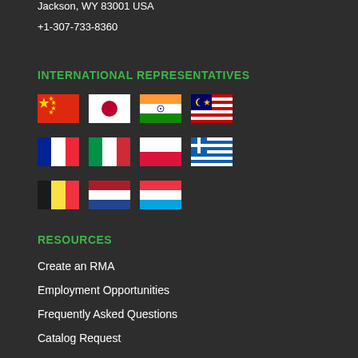Jackson, WY 83001 USA
+1-307-733-8360
INTERNATIONAL REPRESENTATIVES
[Figure (illustration): Row of country flags: China, Japan, India, Malaysia]
[Figure (illustration): Row of country flags: France, Italy, Poland, Greece]
[Figure (illustration): Row of country flags: Belgium, Netherlands, Luxembourg]
RESOURCES
Create an RMA
Employment Opportunities
Frequently Asked Questions
Catalog Request